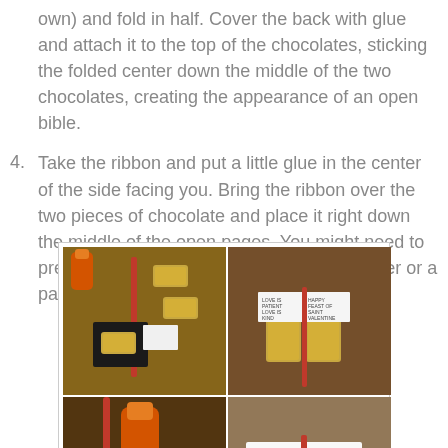own) and fold in half.  Cover the back with glue and attach it to the top of the chocolates, sticking the folded center down the middle of the two chocolates, creating the appearance of an open bible.
4. Take the ribbon and put a little glue in the center of the side facing you. Bring the ribbon over the two pieces of chocolate and place it right down the middle of the open pages. You might need to press the ribbon down gently (with your finger or a paperclip) so it will stick. Let dry completely.
[Figure (photo): Four-panel photo collage showing steps to make chocolate 'open bible' crafts. Top-left: materials laid out on wooden table including gold foil chocolates, orange glue bottle, red ribbon, and black paper. Top-right: two gold foil chocolates side by side with white paper folded over them and red ribbon down the center spine. Bottom-left: person applying glue with red ribbon visible, orange glue bottle in hand. Bottom-right: completed open bible chocolate with white paper pages reading 'LOVE IS PATIENT LOVE IS KIND' and 'HAPPY FEAST OF SAINT VALENTINE' with red ribbon spine.]